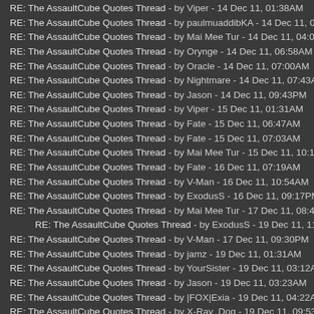RE: The AssaultCube Quotes Thread - by Viper - 14 Dec 11, 01:38AM
RE: The AssaultCube Quotes Thread - by paulmuaddibKA - 14 Dec 11, 01:38A
RE: The AssaultCube Quotes Thread - by Mai Mee Tur - 14 Dec 11, 04:03AM
RE: The AssaultCube Quotes Thread - by Orynge - 14 Dec 11, 06:58AM
RE: The AssaultCube Quotes Thread - by Oracle - 14 Dec 11, 07:00AM
RE: The AssaultCube Quotes Thread - by Nightmare - 14 Dec 11, 07:43AM
RE: The AssaultCube Quotes Thread - by Jason - 14 Dec 11, 09:43PM
RE: The AssaultCube Quotes Thread - by Viper - 15 Dec 11, 01:31AM
RE: The AssaultCube Quotes Thread - by Fate - 15 Dec 11, 06:47AM
RE: The AssaultCube Quotes Thread - by Fate - 15 Dec 11, 07:03AM
RE: The AssaultCube Quotes Thread - by Mai Mee Tur - 15 Dec 11, 10:15PM
RE: The AssaultCube Quotes Thread - by Fate - 16 Dec 11, 07:19AM
RE: The AssaultCube Quotes Thread - by V-Man - 16 Dec 11, 10:54AM
RE: The AssaultCube Quotes Thread - by ExodusS - 16 Dec 11, 09:17PM
RE: The AssaultCube Quotes Thread - by Mai Mee Tur - 17 Dec 11, 08:41PM
RE: The AssaultCube Quotes Thread - by ExodusS - 19 Dec 11, 11:38AM (indented)
RE: The AssaultCube Quotes Thread - by V-Man - 17 Dec 11, 09:30PM
RE: The AssaultCube Quotes Thread - by jamz - 19 Dec 11, 01:31AM
RE: The AssaultCube Quotes Thread - by YourSister - 19 Dec 11, 03:12AM
RE: The AssaultCube Quotes Thread - by Jason - 19 Dec 11, 03:23AM
RE: The AssaultCube Quotes Thread - by |FOX|Exia - 19 Dec 11, 04:22AM
RE: The AssaultCube Quotes Thread - by X-Ray_Dog - 19 Dec 11, 09:53AM
RE: The AssaultCube Quotes Thread - by V-Man - 19 Dec 11, 01:04PM
RE: The AssaultCube Quotes Thread - by luckg666 - 20 Dec 11, 12:21AM